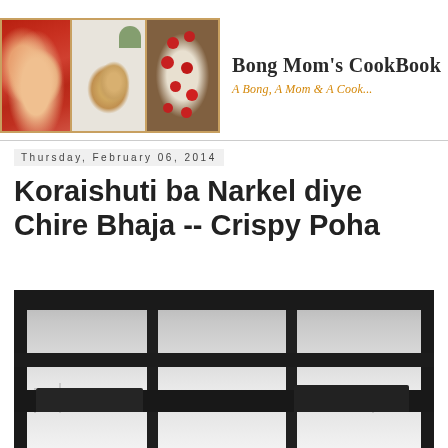[Figure (photo): Bong Mom's CookBook blog header with three food photos (red pastry, golden dumplings, cherry tomatoes in bowl) and site title text]
Bong Mom's CookBook
A Bong, A Mom & A Cook...
Thursday, February 06, 2014
Koraishuti ba Narkel diye Chire Bhaja -- Crispy Poha
[Figure (photo): Black and white photo of a snowy winter scene viewed through a multi-pane window, with dark window frames as silhouette in foreground]